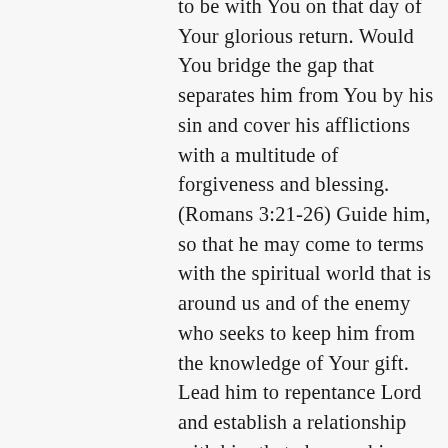to be with You on that day of Your glorious return. Would You bridge the gap that separates him from You by his sin and cover his afflictions with a multitude of forgiveness and blessing. (Romans 3:21-26) Guide him, so that he may come to terms with the spiritual world that is around us and of the enemy who seeks to keep him from the knowledge of Your gift. Lead him to repentance Lord and establish a relationship with him that changes him completely; leading him from darkness into light. Unite him with his wife so they are equally yoked in You! (1 Corinthians 7:14-16) We